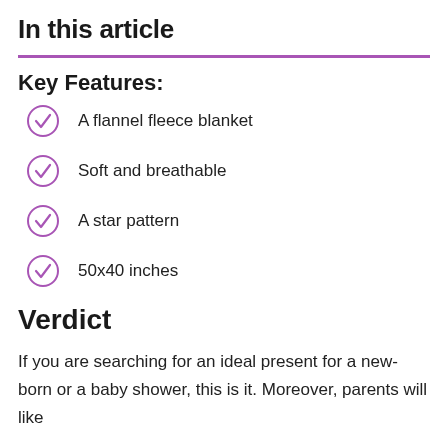In this article
Key Features:
A flannel fleece blanket
Soft and breathable
A star pattern
50x40 inches
Verdict
If you are searching for an ideal present for a new-born or a baby shower, this is it. Moreover, parents will like